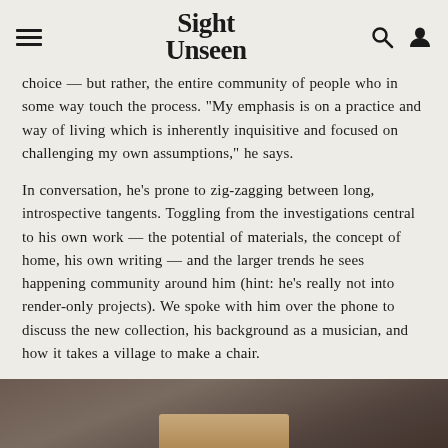Sight Unseen
choice — but rather, the entire community of people who in some way touch the process. “My emphasis is on a practice and way of living which is inherently inquisitive and focused on challenging my own assumptions,” he says.
In conversation, he’s prone to zig-zagging between long, introspective tangents. Toggling from the investigations central to his own work — the potential of materials, the concept of home, his own writing — and the larger trends he sees happening community around him (hint: he’s really not into render-only projects). We spoke with him over the phone to discuss the new collection, his background as a musician, and how it takes a village to make a chair.
[Figure (photo): A photograph showing what appears to be a wooden furniture piece or chair against a dark background, with warm brown and tan tones.]